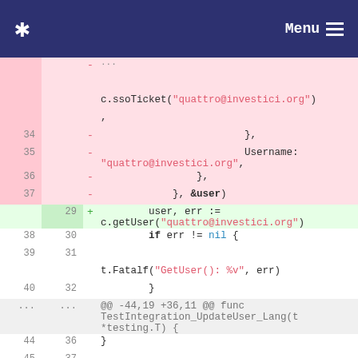* Menu ≡
[Figure (screenshot): Code diff view showing Go source code changes. Deleted lines (pink background) show lines 34-37 with old SSO ticket and Username fields. Added line 29 (green background) shows user, err := c.getUser("quattro@investici.org"). Context lines 38-40/30-32 show if err != nil block with t.Fatalf. Hunk header shows @@ -44,19 +36,11 @@ func TestIntegration_UpdateUser_Lang(t *testing.T) {. Lines 44-46/36-38 show closing brace and func countRegistrations(t.]